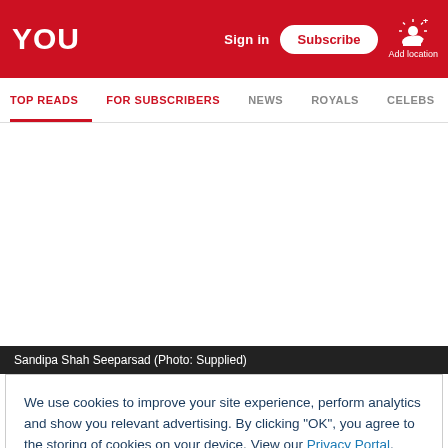YOU
Sign in  Subscribe  Add location
TOP READS  FOR SUBSCRIBERS  NEWS  ROYALS  CELEBS
Sandipa Shah Seeparsad (Photo: Supplied)
We use cookies to improve your site experience, perform analytics and show you relevant advertising. By clicking "OK", you agree to the storing of cookies on your device. View our Privacy Portal, Cookie Policy & Cookie FAQs
OK